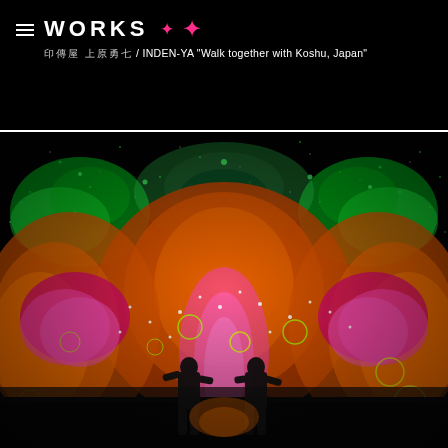WORKS ✦ ✦
印傳屋 上原勇七 / INDEN-YA "Walk together with Koshu, Japan"
[Figure (photo): Psychedelic concert/performance image with two figures in black standing in front of a colorful, symmetrical digital art installation featuring neon green, orange, pink and yellow glowing organic shapes, bubbles, and light effects on a dark background.]